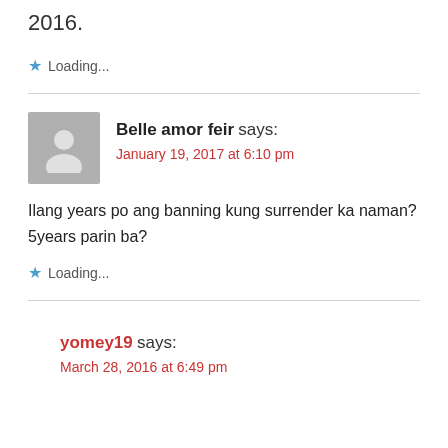2016.
★ Loading...
Belle amor feir says:
January 19, 2017 at 6:10 pm
Ilang years po ang banning kung surrender ka naman? 5years parin ba?
★ Loading...
yomey19 says:
March 28, 2016 at 6:49 pm